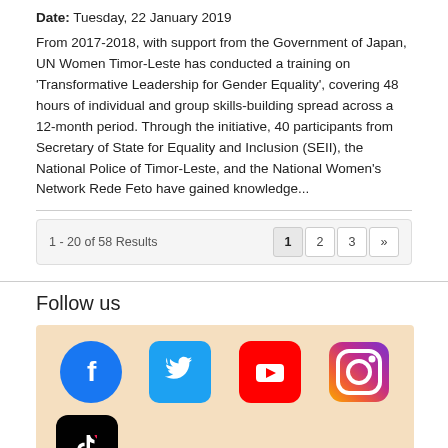Date: Tuesday, 22 January 2019
From 2017-2018, with support from the Government of Japan, UN Women Timor-Leste has conducted a training on ‘Transformative Leadership for Gender Equality’, covering 48 hours of individual and group skills-building spread across a 12-month period. Through the initiative, 40 participants from Secretary of State for Equality and Inclusion (SEII), the National Police of Timor-Leste, and the National Women’s Network Rede Feto have gained knowledge...
1 - 20 of 58 Results
Follow us
[Figure (infographic): Social media icons row: Facebook (blue circle), Twitter (blue rounded square), YouTube (red rounded square), Instagram (gradient rounded square). Below: TikTok (black rounded square, partially visible).]